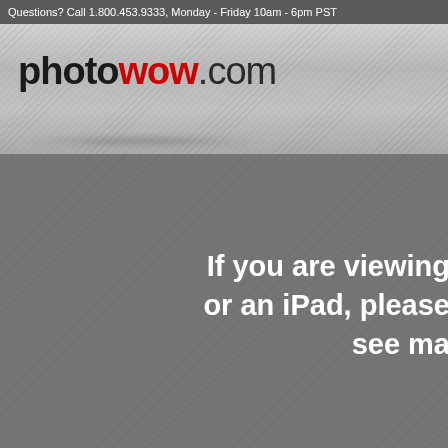Questions? Call 1.800.453.9333, Monday - Friday 10am - 6pm PST
[Figure (logo): photowow.com logo with 'photo' in black bold, 'wow' in red bold, '.com' in dark gray, displayed on a light gray brushed/striped background]
If you are viewing or an iPad, please see ma